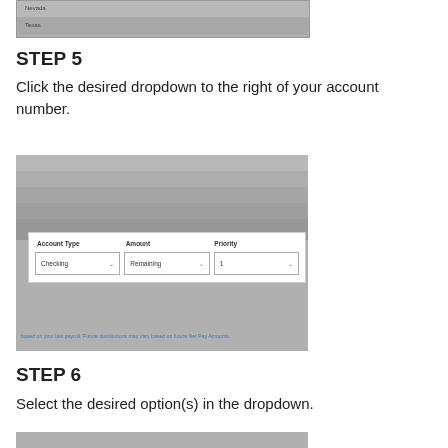[Figure (screenshot): Top portion of a UI table showing rows for 'Nevada' and 'Texas' with gray background]
STEP 5
Click the desired dropdown to the right of your account number.
[Figure (screenshot): Screenshot of a payroll direct deposit UI showing a form with columns Account Type, Amount, and Priority. Dropdowns show Checking, Remaining, and 1. Note at bottom: 'based on your last payroll. Future distributions may vary based on future Net Pay Amounts.']
STEP 6
Select the desired option(s) in the dropdown.
[Figure (screenshot): Bottom portion of a UI screenshot, gray band visible at bottom of page]